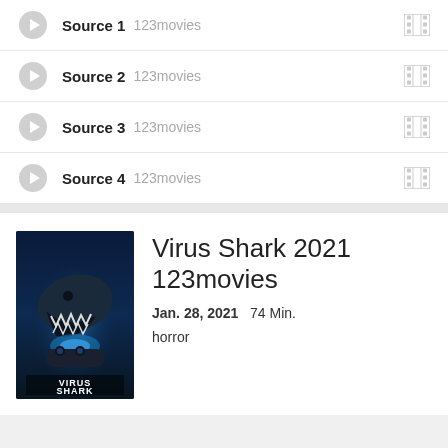Source 1   123movies
Source 2   123movies
Source 3   123movies
Source 4   123movies
[Figure (illustration): Movie poster for Virus Shark 2021 showing a large shark underwater with glowing blue light and text VIRUS SHARK at the bottom]
Virus Shark 2021 123movies
Jan. 28, 2021   74 Min.
horror